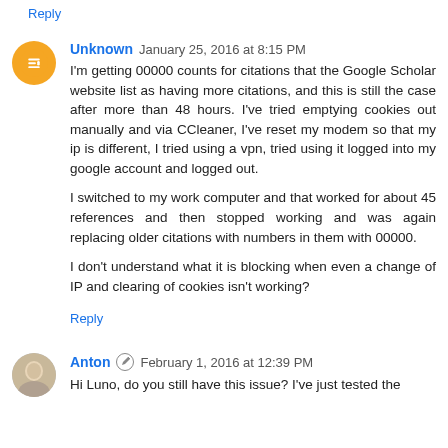Reply
Unknown  January 25, 2016 at 8:15 PM
I'm getting 00000 counts for citations that the Google Scholar website list as having more citations, and this is still the case after more than 48 hours. I've tried emptying cookies out manually and via CCleaner, I've reset my modem so that my ip is different, I tried using a vpn, tried using it logged into my google account and logged out.

I switched to my work computer and that worked for about 45 references and then stopped working and was again replacing older citations with numbers in them with 00000.

I don't understand what it is blocking when even a change of IP and clearing of cookies isn't working?
Reply
Anton  February 1, 2016 at 12:39 PM
Hi Luno, do you still have this issue? I've just tested the